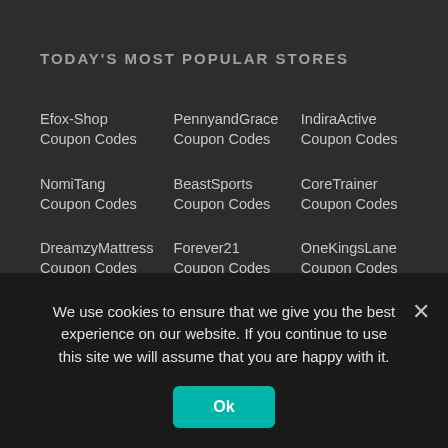TODAY'S MOST POPULAR STORES
Efox-Shop Coupon Codes
PennyandGrace Coupon Codes
IndiraActive Coupon Codes
NomiTang Coupon Codes
BeastSports Coupon Codes
CoreTrainer Coupon Codes
DreamzyMattress Coupon Codes
Forever21 Coupon Codes
OneKingsLane Coupon Codes
FitSpawn Coupon Codes
Cocogenie Coupon Codes
YouDrugstore Coupon Codes
ParklandMfg Coupon
LIVWatches Coupon
Meetmode.com
We use cookies to ensure that we give you the best experience on our website. If you continue to use this site we will assume that you are happy with it.
Ok